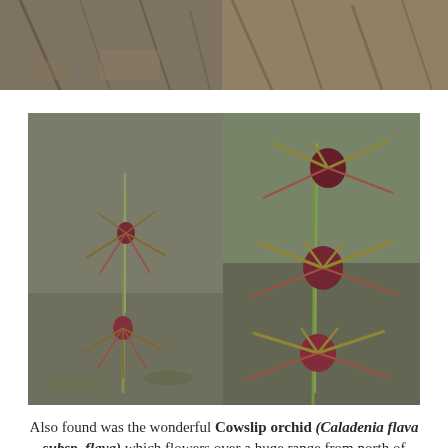[Figure (photo): Two top photos side by side showing dry bush/scrubland vegetation with branches and leaf litter]
[Figure (photo): Two photos side by side of spider orchid plants (Caladenia) in natural bushland setting, showing tall stems with dark red spider-like flowers with elongated petals/sepals]
Also found was the wonderful Cowslip orchid (Caladenia flava subsp. flava) which flowers over a huge range from north of